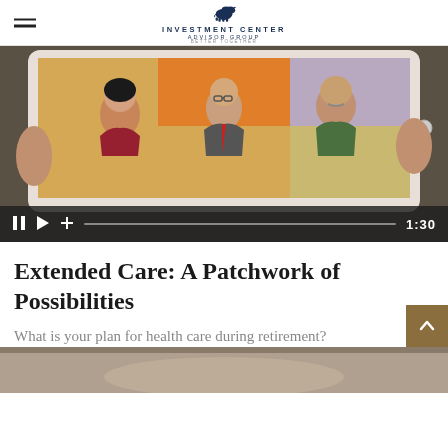INVESTMENT CENTER ADVISOR GROUP — BETTER TOGETHER
[Figure (screenshot): Video thumbnail showing a tablet held by hands, displaying an illustrated panel of three people (a woman in red, a man in a suit, and an older man in green) against colored background panels (orange, purple, tan). Video controls bar at bottom shows pause, play, plus icons, a progress bar, and timestamp 1:30.]
Extended Care: A Patchwork of Possibilities
What is your plan for health care during retirement?
[Figure (photo): Partial view of a photo at the bottom of the page, appears to show a person or object, cropped.]